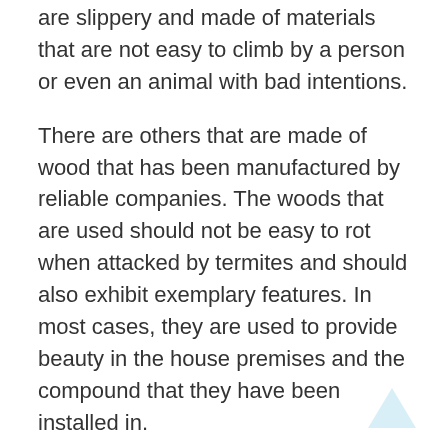are slippery and made of materials that are not easy to climb by a person or even an animal with bad intentions.
There are others that are made of wood that has been manufactured by reliable companies. The woods that are used should not be easy to rot when attacked by termites and should also exhibit exemplary features. In most cases, they are used to provide beauty in the house premises and the compound that they have been installed in.
Farmers in areas that are near parks might also have problems in keeping some wild animals out of reach from their products on the farm. In most cases, the beer is one that is always so threatening and has got a lot of unwanted attacks that can be experienced in its operations. A strong and highly coated structure with strong metallic parts is